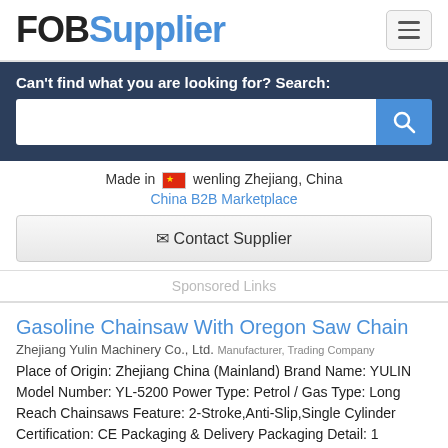FOBSupplier
Can't find what you are looking for? Search:
Made in wenling Zhejiang, China
China B2B Marketplace
✉ Contact Supplier
Sponsored Links
Gasoline Chainsaw With Oregon Saw Chain
Zhejiang Yulin Machinery Co., Ltd. Manufacturer, Trading Company
Place of Origin: Zhejiang China (Mainland) Brand Name: YULIN Model Number: YL-5200 Power Type: Petrol / Gas Type: Long Reach Chainsaws Feature: 2-Stroke,Anti-Slip,Single Cylinder Certification: CE Packaging & Delivery Packaging Detail: 1
Made in Jiangshan Zhejiang, China
China B2B Marketplace